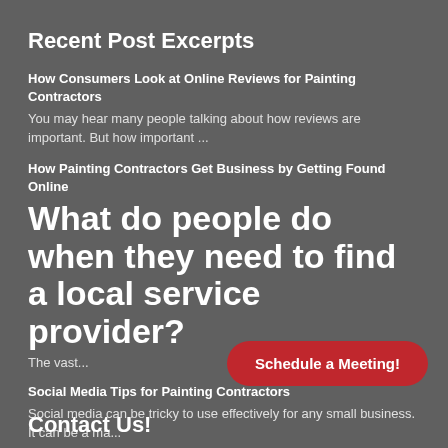Recent Post Excerpts
How Consumers Look at Online Reviews for Painting Contractors
You may hear many people talking about how reviews are important. But how important ...
How Painting Contractors Get Business by Getting Found Online
What do people do when they need to find a local service provider?
The vast...
Social Media Tips for Painting Contractors
Social media can be tricky to use effectively for any small business. It can be a ma...
Schedule a Meeting!
Contact Us!